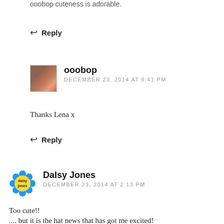ooobop cuteness is adorable.
↩ Reply
ooobop
DECEMBER 23, 2014 AT 9:41 PM
Thanks Lena x
↩ Reply
Dalsy Jones
DECEMBER 23, 2014 AT 2:13 PM
Too cute!!
.... but it is the hat news that has got me excited!
are you nearly finished yet?